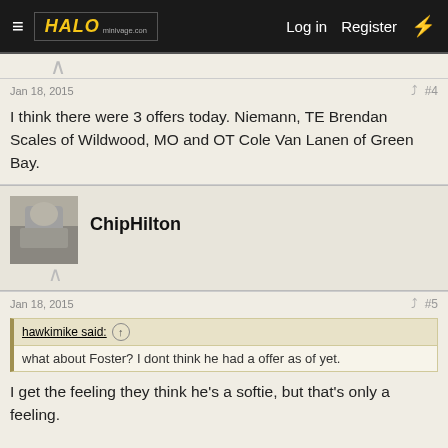HALO | Log in | Register
Jan 18, 2015  #4
I think there were 3 offers today. Niemann, TE Brendan Scales of Wildwood, MO and OT Cole Van Lanen of Green Bay.
ChipHilton
Jan 18, 2015  #5
hawkimike said: ↑  what about Foster? I dont think he had a offer as of yet.
I get the feeling they think he's a softie, but that's only a feeling.

Mike, are you aware of who Niemann's uncle is? (PM material if not, I reckon.)